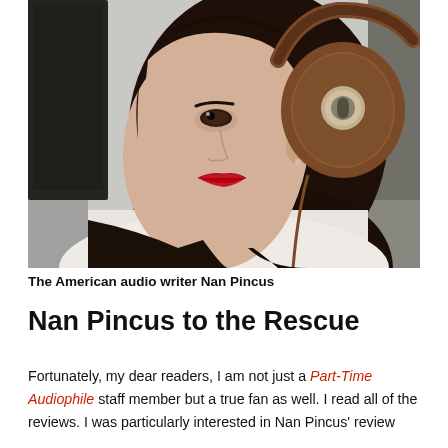[Figure (photo): A young woman with long dark hair wearing brown leather over-ear headphones, photographed in profile/three-quarter view with bright red lipstick, wearing a white top, in what appears to be a studio setting with dark equipment in the background.]
The American audio writer Nan Pincus
Nan Pincus to the Rescue
Fortunately, my dear readers, I am not just a Part-Time Audiophile staff member but a true fan as well. I read all of the reviews. I was particularly interested in Nan Pincus' review